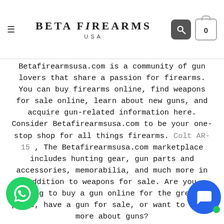BETA FIREARMS USA
Betafirearmsusa.com is a community of gun lovers that share a passion for firearms. You can buy firearms online, find weapons for sale online, learn about new guns, and acquire gun-related information here. Consider Betafirearmsusa.com to be your one-stop shop for all things firearms. Colt AR-15 , The Betafirearmsusa.com marketplace includes hunting gear, gun parts and accessories, memorabilia, and much more in addition to weapons for sale. Are you looking to buy a gun online for the greatest price, have a gun for sale, or want to learn more about guns?
Your marketplace is Betafirearmsusa.com.
Betafirearmsusa.com is a firm believer in proper gun ownership. Betafirearmsusa.com provides a safe, secure and transparent way to buy and sell guns online while